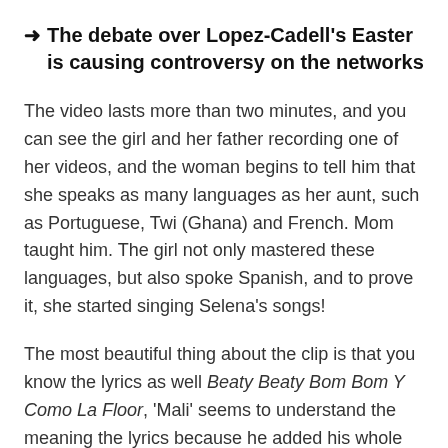→ The debate over Lopez-Cadell's Easter is causing controversy on the networks
The video lasts more than two minutes, and you can see the girl and her father recording one of her videos, and the woman begins to tell him that she speaks as many languages as her aunt, such as Portuguese, Twi (Ghana) and French. Mom taught him. The girl not only mastered these languages, but also spoke Spanish, and to prove it, she started singing Selena's songs!
The most beautiful thing about the clip is that you know the lyrics as well Beaty Beaty Bom Bom Y Como La Floor, 'Mali' seems to understand the meaning the lyrics because he added his whole heart to his interpretation and even did the odd dance to Selena's